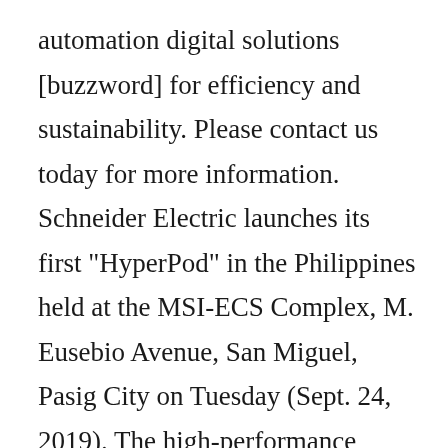automation digital solutions [buzzword] for efficiency and sustainability. Please contact us today for more information. Schneider Electric launches its first "HyperPod" in the Philippines held at the MSI-ECS Complex, M. Eusebio Avenue, San Miguel, Pasig City on Tuesday (Sept. 24, 2019). The high-performance network connectivity products offered by Schneider Electric ensure that your need for fast and reliable Internet connection is fulfilled. Owners will be able to view